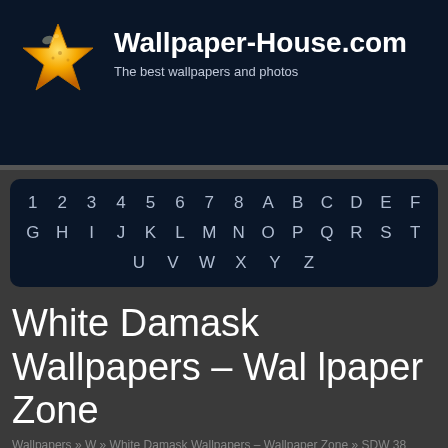Wallpaper-House.com
The best wallpapers and photos
[Figure (other): Alphanumeric navigation box with characters 1 2 3 4 5 6 7 8 A B C D E F / G H I J K L M N O P Q R S T / U V W X Y Z]
White Damask Wallpapers – Wallpaper Zone
Wallpapers » W » White Damask Wallpapers – Wallpaper Zone » SDW 38 0507